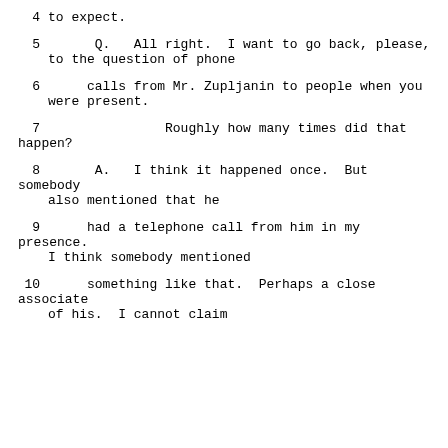4      to expect.
5      Q.   All right.  I want to go back, please, to the question of phone
6      calls from Mr. Zupljanin to people when you were present.
7                  Roughly how many times did that happen?
8      A.   I think it happened once.  But somebody also mentioned that he
9      had a telephone call from him in my presence. I think somebody mentioned
10     something like that.  Perhaps a close associate of his.  I cannot claim